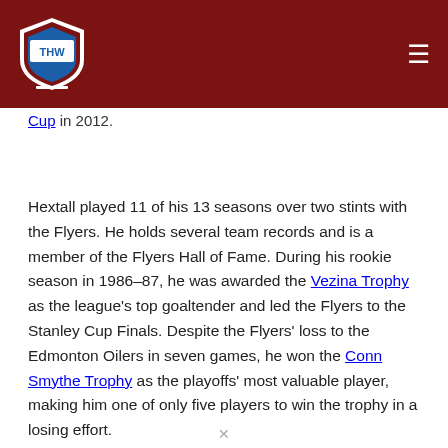THW (logo header navigation)
Cup in 2012.
Hextall played 11 of his 13 seasons over two stints with the Flyers. He holds several team records and is a member of the Flyers Hall of Fame. During his rookie season in 1986–87, he was awarded the Vezina Trophy as the league's top goaltender and led the Flyers to the Stanley Cup Finals. Despite the Flyers' loss to the Edmonton Oilers in seven games, he won the Conn Smythe Trophy as the playoffs' most valuable player, making him one of only five players to win the trophy in a losing effort.